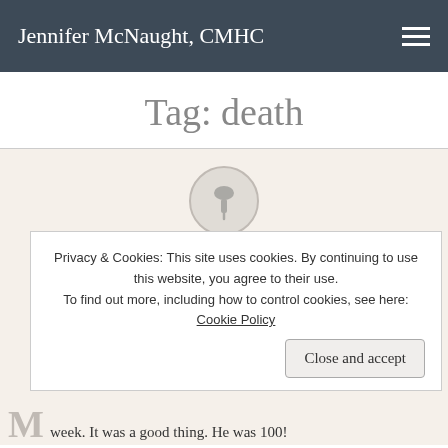Jennifer McNaught, CMHC
Tag: death
Posted on April 24, 2014
Privacy & Cookies: This site uses cookies. By continuing to use this website, you agree to their use.
To find out more, including how to control cookies, see here: Cookie Policy
Close and accept
week. It was a good thing. He was 100!